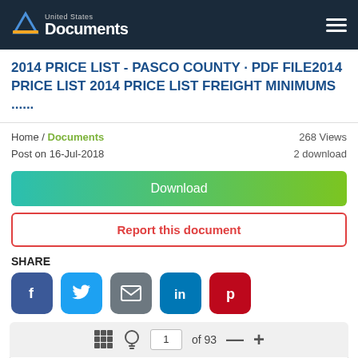United States Documents
2014 PRICE LIST - PASCO COUNTY · PDF FILE2014 PRICE LIST 2014 PRICE LIST FREIGHT MINIMUMS ......
Home / Documents   268 Views
Post on 16-Jul-2018   2 download
Download
Report this document
SHARE
[Figure (infographic): Social share buttons: Facebook, Twitter, Email, LinkedIn, Pinterest]
1 of 93